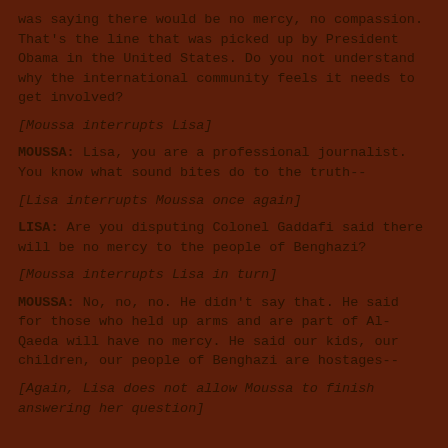was saying there would be no mercy, no compassion. That's the line that was picked up by President Obama in the United States. Do you not understand why the international community feels it needs to get involved?
[Moussa interrupts Lisa]
MOUSSA: Lisa, you are a professional journalist. You know what sound bites do to the truth--
[Lisa interrupts Moussa once again]
LISA: Are you disputing Colonel Gaddafi said there will be no mercy to the people of Benghazi?
[Moussa interrupts Lisa in turn]
MOUSSA: No, no, no. He didn't say that. He said for those who held up arms and are part of Al-Qaeda will have no mercy. He said our kids, our children, our people of Benghazi are hostages--
[Again, Lisa does not allow Moussa to finish answering her question]